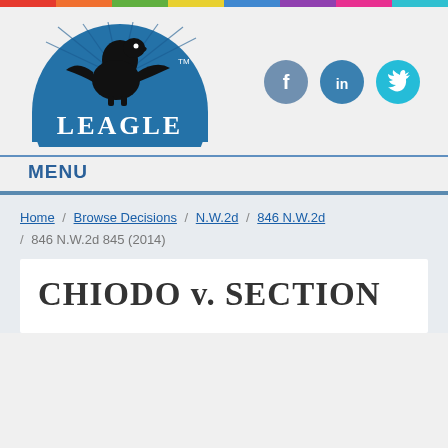[Figure (logo): Leagle logo — blue semicircle with eagle silhouette and LEAGLE text in white]
[Figure (infographic): Social media icons: Facebook (grey-blue circle with f), LinkedIn (blue circle with in), Twitter (cyan circle with bird)]
MENU
Home / Browse Decisions / N.W.2d / 846 N.W.2d / 846 N.W.2d 845 (2014)
CHIODO v. SECTION